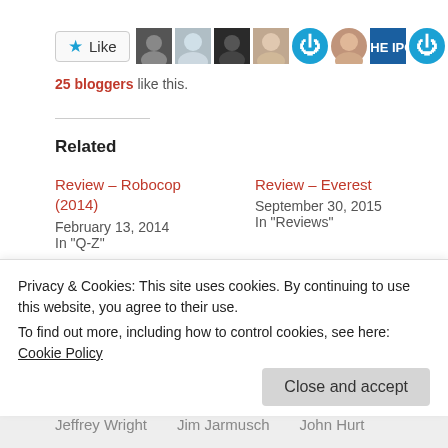[Figure (other): Like button with star icon and row of blogger avatar thumbnails]
25 bloggers like this.
Related
Review – Robocop (2014)
February 13, 2014
In "Q-Z"
Review – Everest
September 30, 2015
In "Reviews"
Review – Inside Llewyn Davis
January 27, 2014
Privacy & Cookies: This site uses cookies. By continuing to use this website, you agree to their use.
To find out more, including how to control cookies, see here: Cookie Policy
Close and accept
Jeffrey Wright   Jim Jarmusch   John Hurt